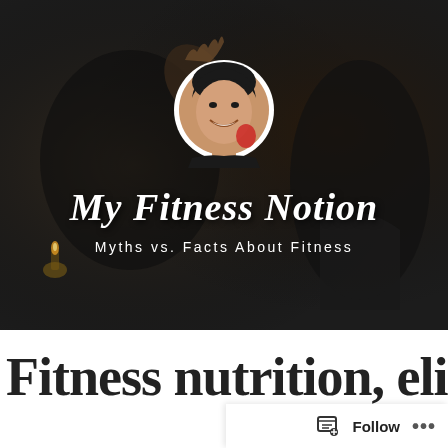[Figure (photo): Banner image of a fitness blog called 'My Fitness Notion' with a dark background showing a person in a yoga/fitness pose, with a circular profile photo of a smiling man overlaid, followed by the blog title in cursive white text and subtitle 'Myths vs. Facts About Fitness']
My Fitness Notion
Myths vs. Facts About Fitness
Fitness nutrition, elite nutrition (partially visible, cut off)
Follow